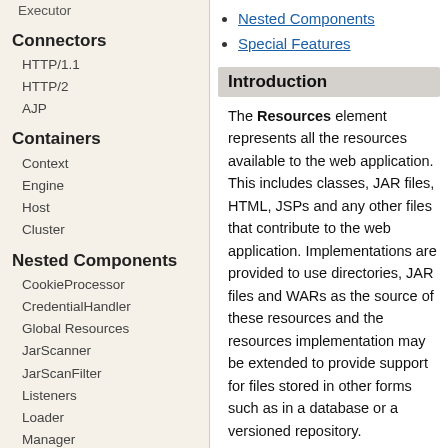Executor
Connectors
HTTP/1.1
HTTP/2
AJP
Containers
Context
Engine
Host
Cluster
Nested Components
CookieProcessor
CredentialHandler
Global Resources
JarScanner
JarScanFilter
Listeners
Loader
Manager
Realm
Resources
SessionIdGenerator
Nested Components
Special Features
Introduction
The Resources element represents all the resources available to the web application. This includes classes, JAR files, HTML, JSPs and any other files that contribute to the web application. Implementations are provided to use directories, JAR files and WARs as the source of these resources and the resources implementation may be extended to provide support for files stored in other forms such as in a database or a versioned repository.
Resources are cached by